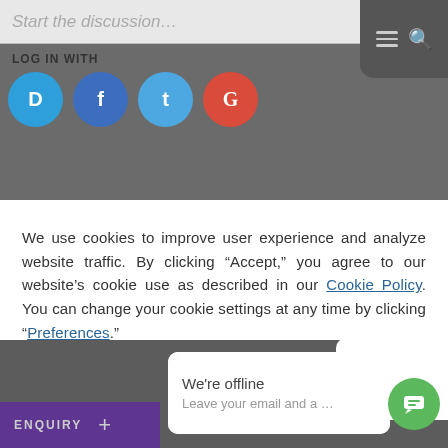[Figure (screenshot): Top bar with 'Start the discussion...' input placeholder, hamburger menu and search icon on dark gray background, LOG IN WITH label and social icons (Disqus, Facebook, Twitter, Google)]
We use cookies to improve user experience and analyze website traffic. By clicking "Accept," you agree to our website's cookie use as described in our Cookie Policy. You can change your cookie settings at any time by clicking "Preferences."
ACCEPT
PREFERENCES
[Figure (screenshot): Bottom dark section with ENQUIRY + bar in purple, chat popup bubble saying 'We're offline - Leave your email and a ...' with green chat button]